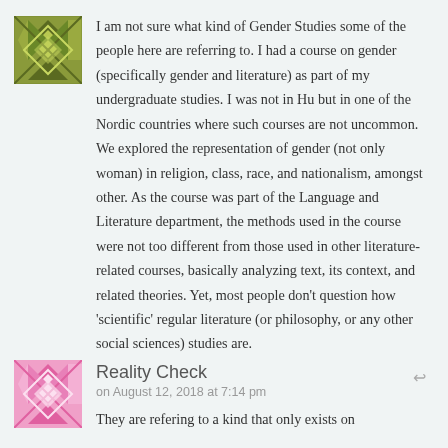[Figure (illustration): Avatar icon — geometric diamond/arrow pattern in olive green]
I am not sure what kind of Gender Studies some of the people here are referring to. I had a course on gender (specifically gender and literature) as part of my undergraduate studies. I was not in Hu but in one of the Nordic countries where such courses are not uncommon. We explored the representation of gender (not only woman) in religion, class, race, and nationalism, amongst other. As the course was part of the Language and Literature department, the methods used in the course were not too different from those used in other literature-related courses, basically analyzing text, its context, and related theories. Yet, most people don't question how 'scientific' regular literature (or philosophy, or any other social sciences) studies are.
[Figure (illustration): Avatar icon — geometric diamond pattern in pink]
Reality Check
on August 12, 2018 at 7:14 pm
They are refering to a kind that only exists on